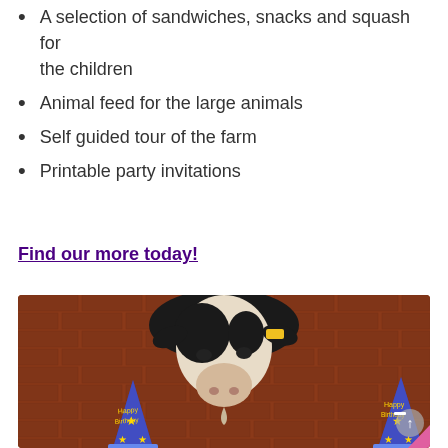A selection of sandwiches, snacks and squash for the children
Animal feed for the large animals
Self guided tour of the farm
Printable party invitations
Find our more today!
[Figure (photo): A black and white goat wearing party hats in front of a red brick wall, with two blue 'Happy Birthday' party hats visible at the bottom corners]